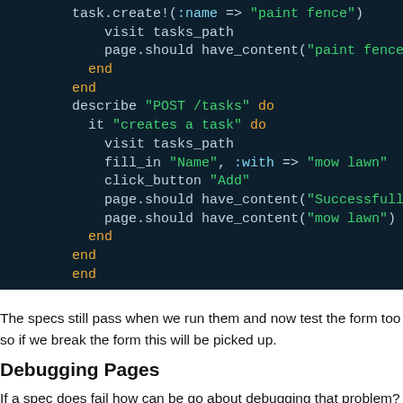[Figure (screenshot): Code editor screenshot showing Ruby/RSpec test code with syntax highlighting on dark background. Code includes describe 'POST /tasks' do block with it 'creates a task' do, visit tasks_path, fill_in 'Name' :with => 'mow lawn', click_button 'Add', page.should have_content() assertions. Keywords in orange, strings in green, symbols in cyan.]
The specs still pass when we run them and now test the form too so if we break the form this will be picked up.
Debugging Pages
If a spec does fail how can be go about debugging that problem? This is where using Capybara we can call the save_and_open_page method at any browser so that we can take a look at it. We'll add it immediately after cli run the specs again we'll see the tasks page just before we check its cont
[Figure (screenshot): Browser window showing Mac OS X style traffic light buttons (red, yellow, green) and toolbar with navigation buttons and URL bar showing file:///Users/eifion/Desktop/Dropbox/...]